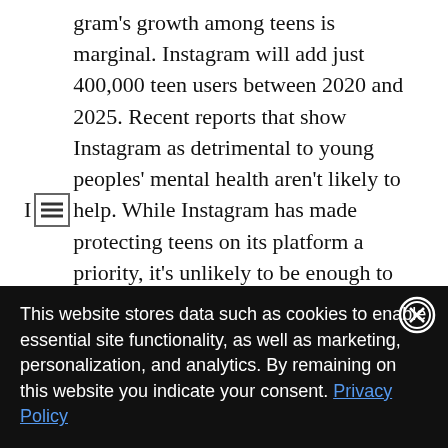Instagram's growth among teens is marginal. Instagram will add just 400,000 teen users between 2020 and 2025. Recent reports that show Instagram as detrimental to young peoples' mental health aren't likely to help. While Instagram has made protecting teens on its platform a priority, it's unlikely to be enough to convince teens to join. It's also only part of Instagram's problem: Many teens aren't signing up simply because they prefer other social networks.
Marketing on Instagram
This website stores data such as cookies to enable essential site functionality, as well as marketing, personalization, and analytics. By remaining on this website you indicate your consent. Privacy Policy